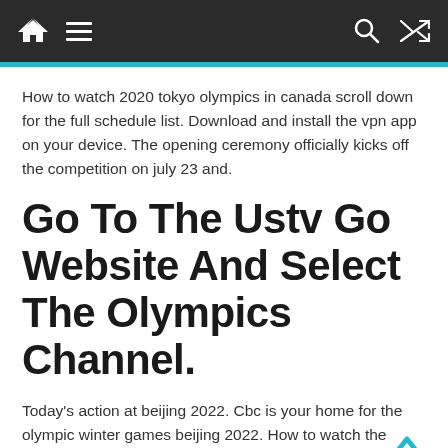Navigation bar with home, menu, search, and shuffle icons
How to watch 2020 tokyo olympics in canada scroll down for the full schedule list. Download and install the vpn app on your device. The opening ceremony officially kicks off the competition on july 23 and.
Go To The Ustv Go Website And Select The Olympics Channel.
Today's action at beijing 2022. Cbc is your home for the olympic winter games beijing 2022. How to watch the olympics for free online
Also Are Onli...